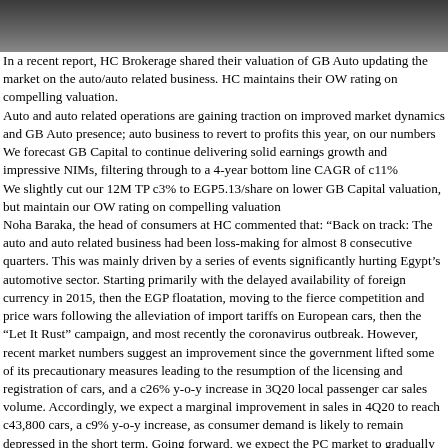[Figure (photo): Close-up photo of mechanical/automotive gears or components, dark metallic tones]
In a recent report, HC Brokerage shared their valuation of GB Auto updating the market on the auto/auto related business. HC maintains their OW rating on compelling valuation.
Auto and auto related operations are gaining traction on improved market dynamics and GB Auto presence; auto business to revert to profits this year, on our numbers
We forecast GB Capital to continue delivering solid earnings growth and impressive NIMs, filtering through to a 4-year bottom line CAGR of c11%
We slightly cut our 12M TP c3% to EGP5.13/share on lower GB Capital valuation, but maintain our OW rating on compelling valuation
Noha Baraka, the head of consumers at HC commented that: “Back on track: The auto and auto related business had been loss-making for almost 8 consecutive quarters. This was mainly driven by a series of events significantly hurting Egypt’s automotive sector. Starting primarily with the delayed availability of foreign currency in 2015, then the EGP floatation, moving to the fierce competition and price wars following the alleviation of import tariffs on European cars, then the “Let It Rust” campaign, and most recently the coronavirus outbreak. However, recent market numbers suggest an improvement since the government lifted some of its precautionary measures leading to the resumption of the licensing and registration of cars, and a c26% y-o-y increase in 3Q20 local passenger car sales volume. Accordingly, we expect a marginal improvement in sales in 4Q20 to reach c43,800 cars, a c9% y-o-y increase, as consumer demand is likely to remain depressed in the short term. Going forward, we expect the PC market to gradually recover and grow at a 4-year CAGR of c10% aided by pent-up demand, lack of public transportation and infrastructure, and not to mention the increased